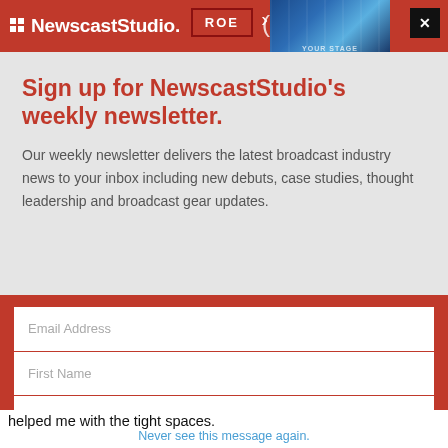NewscastStudio [header with logo, ROE ad badge, image strip, close button]
Sign up for NewscastStudio's weekly newsletter.
Our weekly newsletter delivers the latest broadcast industry news to your inbox including new debuts, case studies, thought leadership and broadcast gear updates.
[Figure (screenshot): Newsletter signup form with three fields: Email Address, First Name, Last Name, displayed on a red background]
helped me with the tight spaces.
Never see this message again.